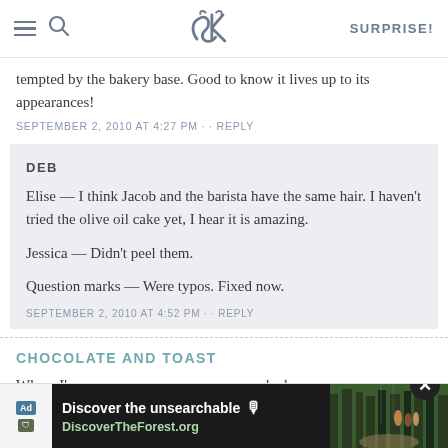SK [logo] SURPRISE!
tempted by the bakery base. Good to know it lives up to its appearances!
SEPTEMBER 2, 2010 AT 4:27 PM · · REPLY
DEB
Elise — I think Jacob and the barista have the same hair. I haven't tried the olive oil cake yet, I hear it is amazing.

Jessica — Didn't peel them.

Question marks — Were typos. Fixed now.
SEPTEMBER 2, 2010 AT 4:52 PM · · REPLY
CHOCOLATE AND TOAST
Whoa. I'  ked my
[Figure (screenshot): Advertisement overlay showing 'Discover the unsearchable' and 'DiscoverTheForest.org' with a forest photo and close button]